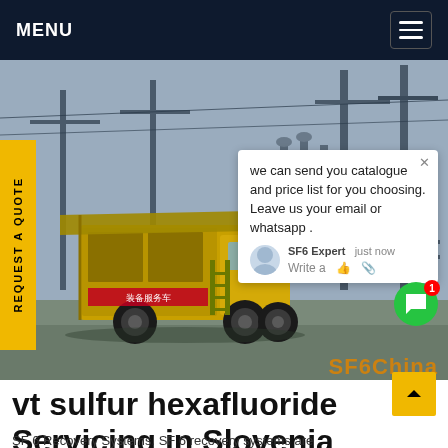MENU
[Figure (photo): Yellow SF6 recovery service truck at an electrical substation with high-voltage equipment in background. Chat popup overlay visible on right side with text: 'we can send you catalogue and price list for you choosing. Leave us your email or whatsapp.' SF6China watermark in orange at bottom right.]
REQUEST A QUOTE
vt sulfur hexafluoride Servicing in Slovenia
SF 6 Recovery Systems. SF 6 recovery systems are